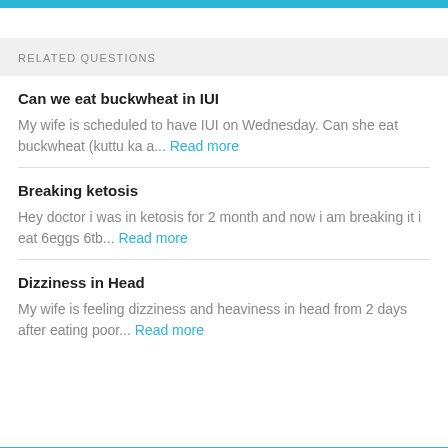RELATED QUESTIONS
Can we eat buckwheat in IUI
My wife is scheduled to have IUI on Wednesday. Can she eat buckwheat (kuttu ka a... Read more
Breaking ketosis
Hey doctor i was in ketosis for 2 month and now i am breaking it i eat 6eggs 6tb... Read more
Dizziness in Head
My wife is feeling dizziness and heaviness in head from 2 days after eating poor... Read more